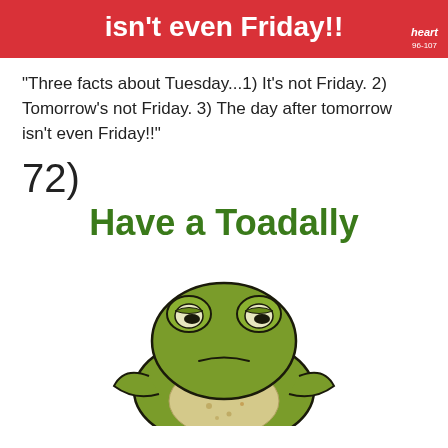[Figure (illustration): Red banner with white bold text reading 'isn't even Friday!!' and a Heart 96-107 radio logo in bottom right corner]
“Three facts about Tuesday...1) It’s not Friday. 2) Tomorrow’s not Friday. 3) The day after tomorrow isn’t even Friday!!”
72)
[Figure (illustration): Green text reading 'Have a Toadally' above a cartoon illustration of a grumpy tired-looking green frog/toad with heavy-lidded eyes and arms crossed]